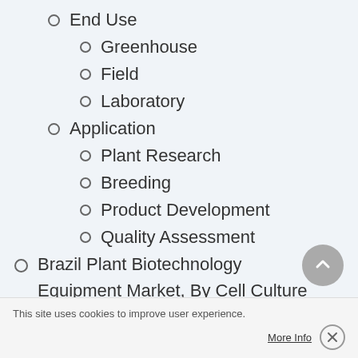End Use
Greenhouse
Field
Laboratory
Application
Plant Research
Breeding
Product Development
Quality Assessment
Brazil Plant Biotechnology Equipment Market, By Cell Culture Equipment
Equipment
Incubators
Centrifuges
Seed Germinators
Microscopes
Sterilizers
Cell Culture
Others (autoclave, snaker,